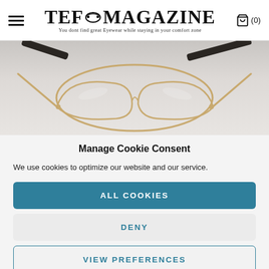TEF MAGAZINE — You dont find great Eyewear while staying in your comfort zone
[Figure (photo): A pair of rimless gold-frame cat-eye glasses on a white background]
Manage Cookie Consent
We use cookies to optimize our website and our service.
ALL COOKIES
DENY
VIEW PREFERENCES